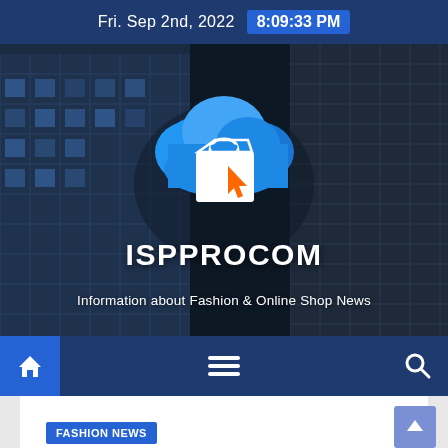Fri. Sep 2nd, 2022  8:09:33 PM
[Figure (screenshot): ISPPROCOM website hero banner with building background, cloud shopping bag logo, site title ISPPROCOM and tagline 'Information about Fashion & Online Shop News']
ISPPROCOM
Information about Fashion & Online Shop News
[Figure (infographic): Navigation bar with home icon, hamburger menu, and search icon on dark blue background]
FASHION NEWS